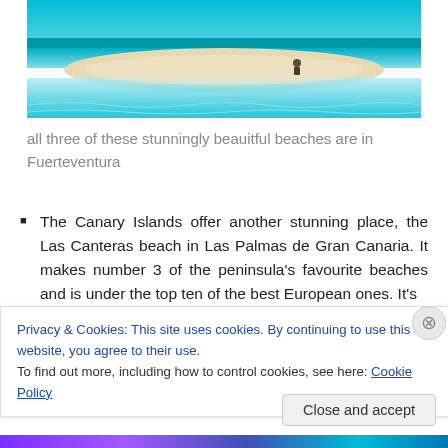[Figure (photo): Aerial/ground view of a beautiful sandy beach with turquoise clear shallow water in Fuerteventura, Canary Islands. A person is sitting on the sand in the center-right of the image.]
all three of these stunningly beauitful beaches are in Fuerteventura
The Canary Islands offer another stunning place, the Las Canteras beach in Las Palmas de Gran Canaria. It makes number 3 of the peninsula's favourite beaches and is under the top ten of the best European ones. It's
Privacy & Cookies: This site uses cookies. By continuing to use this website, you agree to their use.
To find out more, including how to control cookies, see here: Cookie Policy
Close and accept